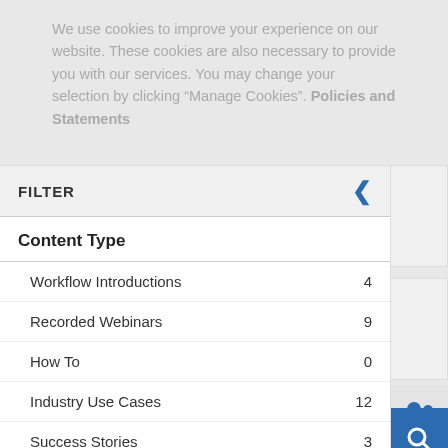We use cookies to improve your experience on our website. These cookies are also necessary to provide you with our services. You may change your selection by clicking “Manage Cookies”. Policies and Statements
FILTER
Content Type
Workflow Introductions  4
Recorded Webinars  9
How To  0
Industry Use Cases  12
Success Stories  3
✓ Reference Applications  1
Whitepapers  3
Published Papers  (partial)